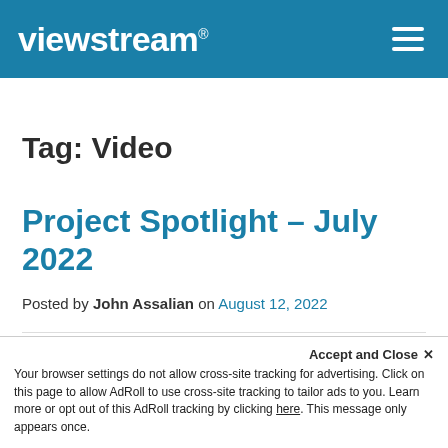viewstream®
Tag: Video
Project Spotlight – July 2022
Posted by John Assalian on August 12, 2022
Accept and Close ✕
Your browser settings do not allow cross-site tracking for advertising. Click on this page to allow AdRoll to use cross-site tracking to tailor ads to you. Learn more or opt out of this AdRoll tracking by clicking here. This message only appears once.